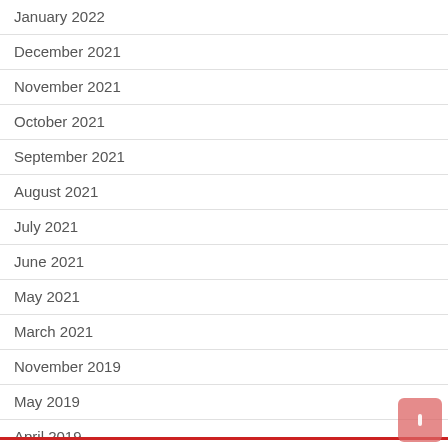January 2022
December 2021
November 2021
October 2021
September 2021
August 2021
July 2021
June 2021
May 2021
March 2021
November 2019
May 2019
April 2019